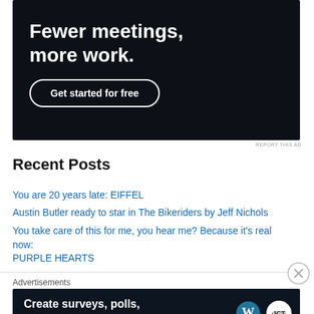[Figure (other): Dark advertisement banner with text 'Fewer meetings, more work.' and a 'Get started for free' button with rounded border outline]
REPORT THIS AD
Recent Posts
You are 20 years late: EIFFEL
Austin Butler ready to star in The Bikeriders by Jeff Nichols
You take care of this for me, you hear me? Because it's real now: PURPLE HEARTS
Advertisements
[Figure (other): Dark advertisement banner with text 'Create surveys, polls, quizzes, and forms.' with WordPress and Jetpack logos]